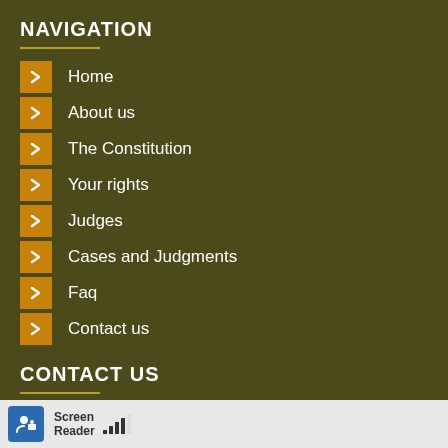NAVIGATION
Home
About us
The Constitution
Your rights
Judges
Cases and Judgments
Faq
Contact us
CONTACT US
Switchboard: +27 11 359-7400
Screen Reader